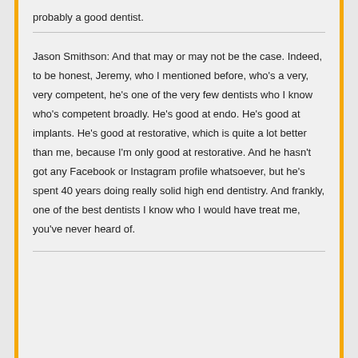probably a good dentist.
Jason Smithson: And that may or may not be the case. Indeed, to be honest, Jeremy, who I mentioned before, who's a very, very competent, he's one of the very few dentists who I know who's competent broadly. He's good at endo. He's good at implants. He's good at restorative, which is quite a lot better than me, because I'm only good at restorative. And he hasn't got any Facebook or Instagram profile whatsoever, but he's spent 40 years doing really solid high end dentistry. And frankly, one of the best dentists I know who I would have treat me, you've never heard of.